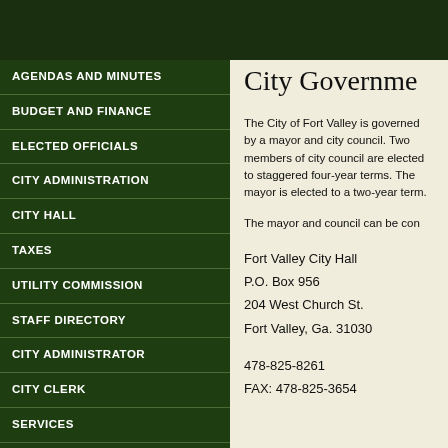AGENDAS AND MINUTES
BUDGET AND FINANCE
ELECTED OFFICIALS
CITY ADMINISTRATION
CITY HALL
TAXES
UTILITY COMMISSION
STAFF DIRECTORY
CITY ADMINISTRATOR
CITY CLERK
SERVICES
City Government
The City of Fort Valley is governed by a mayor and city council. Two members of city council are elected to staggered four-year terms. The mayor is elected to a two-year term.
The mayor and council can be con...
Fort Valley City Hall
P.O. Box 956
204 West Church St.
Fort Valley, Ga. 31030
478-825-8261
FAX: 478-825-3654